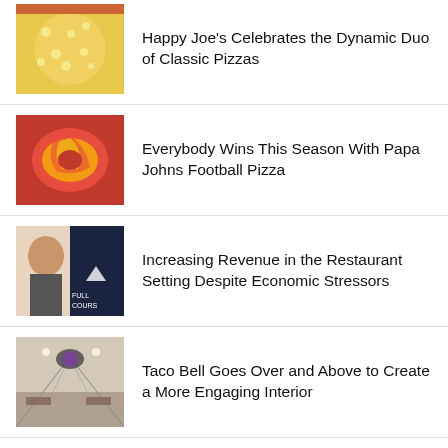Happy Joe's Celebrates the Dynamic Duo of Classic Pizzas
Everybody Wins This Season With Papa Johns Football Pizza
Increasing Revenue in the Restaurant Setting Despite Economic Stressors
Taco Bell Goes Over and Above to Create a More Engaging Interior
Ovation Adds Tammy K. Billings To Advisory Board
Chronic Tacos Stops at Saugus Location To Celebrate Their 20th Anniversary Tour